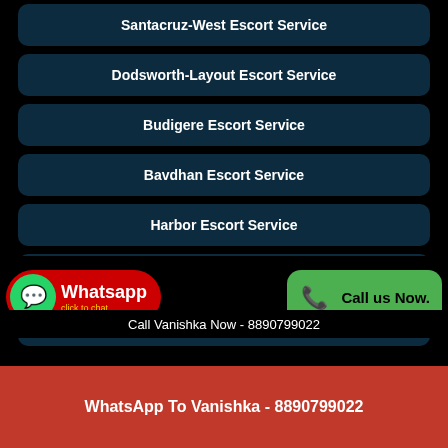Santacruz-West Escort Service
Dodsworth-Layout Escort Service
Budigere Escort Service
Bavdhan Escort Service
Harbor Escort Service
Thirumudivakkam Escort Service
Hathijan Escort Service
[Figure (infographic): WhatsApp click to chat button and Call us Now button with phone icons]
Call Vanishka Now - 8890799022
WhatsApp To Vanishka - 8890799022